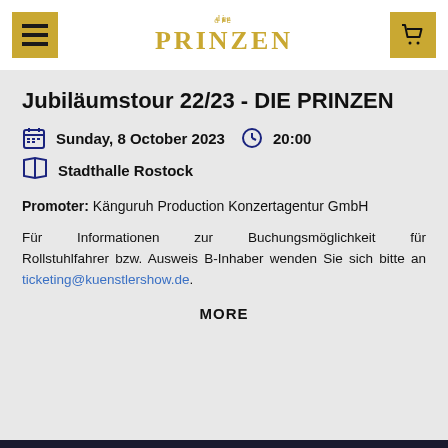die PRINZEN
Jubiläumstour 22/23 - DIE PRINZEN
Sunday, 8 October 2023   20:00
Stadthalle Rostock
Promoter: Känguruh Production Konzertagentur GmbH
Für Informationen zur Buchungsmöglichkeit für Rollstuhlfahrer bzw. Ausweis B-Inhaber wenden Sie sich bitte an ticketing@kuenstlershow.de.
MORE